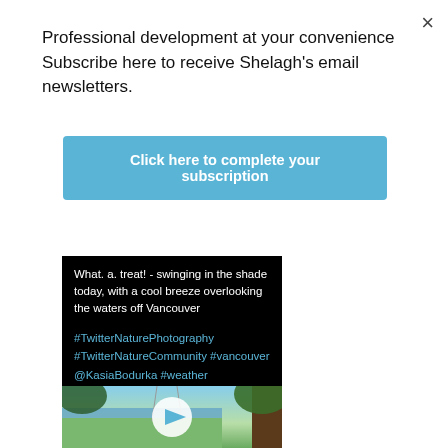×
Professional development at your convenience Subscribe here to receive Shelagh's email newsletters.
[Figure (screenshot): Blue button with white bold text: 'Click here to complete your subscription']
What. a. treat! - swinging in the shade today, with a cool breeze overlooking the waters off Vancouver

#TwitterNaturePhotography #TwitterNatureCommunity #vancouver @KasiaBodurka #weather #summerfun #chill #relax
[Figure (photo): Outdoor nature scene with tree on right, green grass, blue water and sky in background, with a circular play button overlay in the center]